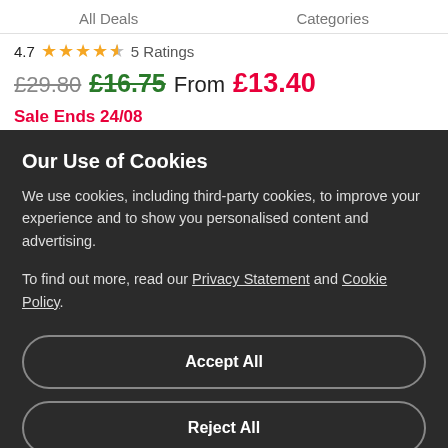All Deals   Categories
4.7 ★★★★☆ 5 Ratings
£29.80  £16.75  From£13.40  Sale Ends 24/08
For two: two-course vegetarian meal with fresh juice
Book Online
Our Use of Cookies
We use cookies, including third-party cookies, to improve your experience and to show you personalised content and advertising.
To find out more, read our Privacy Statement and Cookie Policy.
Accept All
Reject All
My Options